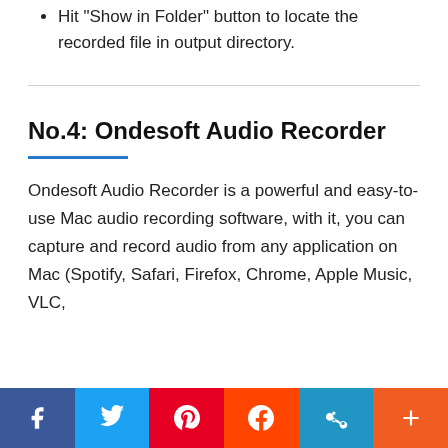Hit "Show in Folder" button to locate the recorded file in output directory.
No.4: Ondesoft Audio Recorder
Ondesoft Audio Recorder is a powerful and easy-to-use Mac audio recording software, with it, you can capture and record audio from any application on Mac (Spotify, Safari, Firefox, Chrome, Apple Music, VLC,